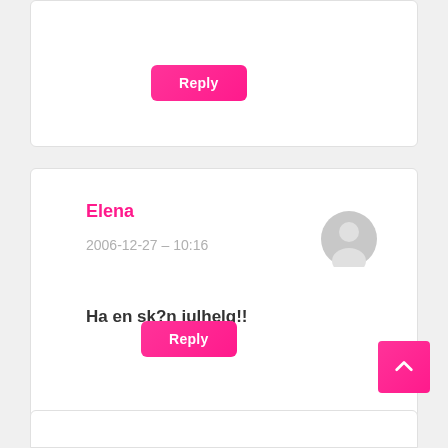[Figure (screenshot): Partial comment card showing a pink Reply button at the top]
Elena
2006-12-27 – 10:16
[Figure (illustration): Gray user avatar circle icon]
Ha en sk?n julhelg!!
[Figure (screenshot): Pink Reply button]
[Figure (screenshot): Pink back-to-top button with upward chevron arrow]
[Figure (screenshot): Partial comment card at bottom of page]